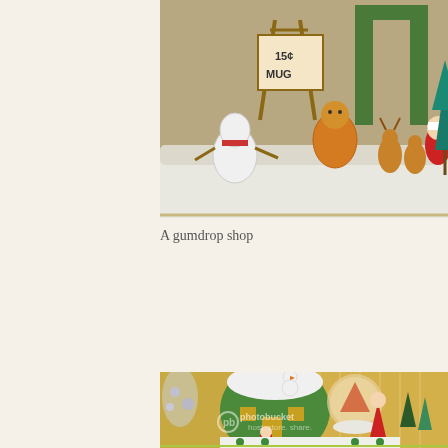[Figure (photo): Christmas village scene with small figurines including characters holding a sign reading '15¢ MUG', deer figurines, Santa Claus, snowman figures, and green Christmas trees against a snowy white background]
A gumdrop shop
[Figure (photo): A decorative green Christmas house/gumdrop shop figurine with snow on the roof, surrounded by Santa Claus figures, bottle brush trees, a snow globe, and Christmas lights in the background. A Photobucket watermark is visible on the image.]